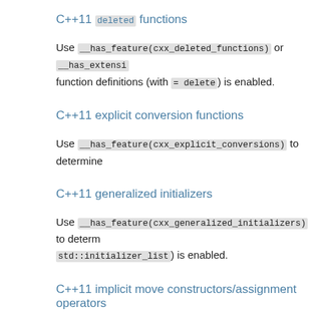C++11 deleted functions
Use __has_feature(cxx_deleted_functions) or __has_extensi… function definitions (with = delete) is enabled.
C++11 explicit conversion functions
Use __has_feature(cxx_explicit_conversions) to determine…
C++11 generalized initializers
Use __has_feature(cxx_generalized_initializers) to determ… std::initializer_list) is enabled.
C++11 implicit move constructors/assignment operators
Use __has_feature(cxx_implicit_moves) to determine if C… assignment operators where needed.
C++11 inheriting constructors